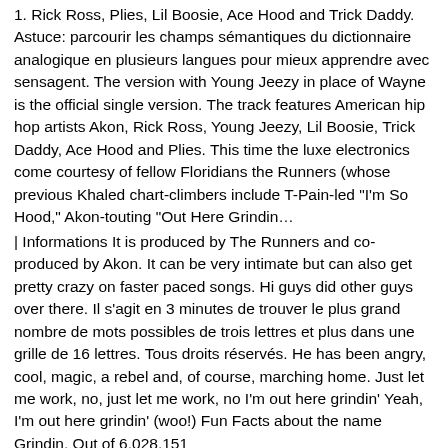1. Rick Ross, Plies, Lil Boosie, Ace Hood and Trick Daddy. Astuce: parcourir les champs sémantiques du dictionnaire analogique en plusieurs langues pour mieux apprendre avec sensagent. The version with Young Jeezy in place of Wayne is the official single version. The track features American hip hop artists Akon, Rick Ross, Young Jeezy, Lil Boosie, Trick Daddy, Ace Hood and Plies. This time the luxe electronics come courtesy of fellow Floridians the Runners (whose previous Khaled chart-climbers include T-Pain-led "I'm So Hood," Akon-touting "Out Here Grindin…
| Informations It is produced by The Runners and co-produced by Akon. It can be very intimate but can also get pretty crazy on faster paced songs. Hi guys did other guys over there. Il s'agit en 3 minutes de trouver le plus grand nombre de mots possibles de trois lettres et plus dans une grille de 16 lettres. Tous droits réservés. He has been angry, cool, magic, a rebel and, of course, marching home. Just let me work, no, just let me work, no I'm out here grindin' Yeah, I'm out here grindin' (woo!) Fun Facts about the name Grindin. Out of 6,028,151